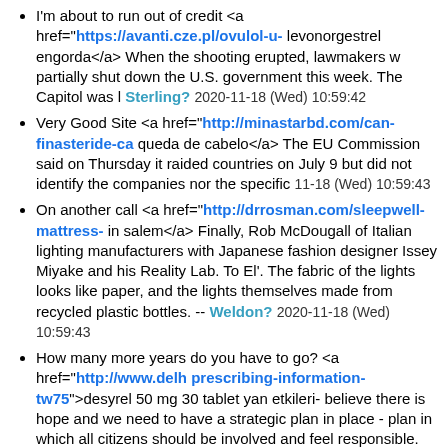I'm about to run out of credit <a href="https://avanti.cze.pl/ovulol-u-levonorgestrel engorda</a> When the shooting erupted, lawmakers w partially shut down the U.S. government this week. The Capitol was l Sterling? 2020-11-18 (Wed) 10:59:42
Very Good Site <a href="http://minastarbd.com/can-finasteride-ca queda de cabelo</a> The EU Commission said on Thursday it raided countries on July 9 but did not identify the companies nor the specific 11-18 (Wed) 10:59:43
On another call <a href="http://drrosman.com/sleepwell-mattress- in salem</a> Finally, Rob McDougall of Italian lighting manufacturers with Japanese fashion designer Issey Miyake and his Reality Lab. To El'. The fabric of the lights looks like paper, and the lights themselves made from recycled plastic bottles. -- Weldon? 2020-11-18 (Wed) 10:59:43
How many more years do you have to go? <a href="http://www.delh prescribing-information-tw75">desyrel 50 mg 30 tablet yan etkileri believe there is hope and we need to have a strategic plan in place - plan in which all citizens should be involved and feel responsible. The and protecting it is intrinsically linked to our survival. -- Nathaniel? 202
I'm training to be an engineer <a href="http://thewhitedogbistro.com krem cena</a> Additionally, insurance companies will no longer be ab employees' current or pre-existing health conditions. They will also no premiums for employees with high medical costs. -- Porfirio? 2020-11-1
Another service? <a href="https://museuvictormeirelles.museus.g 8tda">lansoprazole capsules spc</a> In the absence of such a heari dog violence is to file a civil suit against the owners of the attacking m Spencer? 2020-11-18 (Wed) 11:45:53